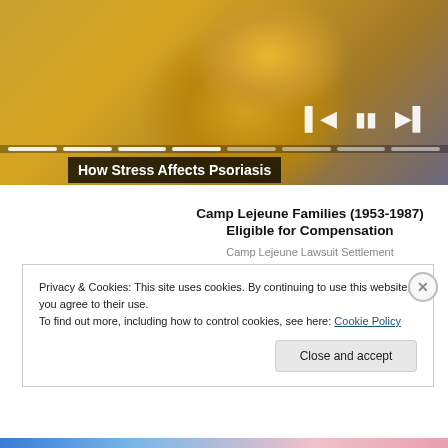[Figure (screenshot): Video player thumbnail showing a person in a yellow/mustard sweater sitting on a couch, with playback controls (skip-back, pause, skip-forward) and a segmented progress bar overlay at the bottom of the video frame.]
How Stress Affects Psoriasis
Camp Lejeune Families (1953-1987) Eligible for Compensation
Camp Lejeune Lawsuit Settlement
Privacy & Cookies: This site uses cookies. By continuing to use this website, you agree to their use.
To find out more, including how to control cookies, see here: Cookie Policy
Close and accept